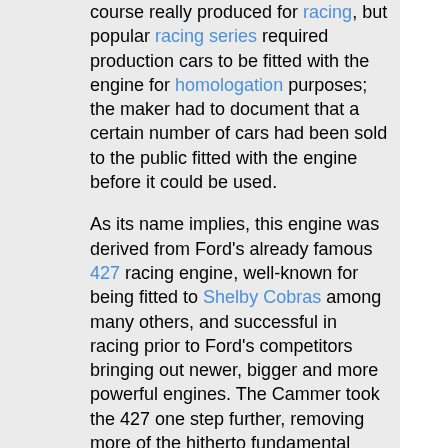course really produced for racing, but popular racing series required production cars to be fitted with the engine for homologation purposes; the maker had to document that a certain number of cars had been sold to the public fitted with the engine before it could be used.
As its name implies, this engine was derived from Ford's already famous 427 racing engine, well-known for being fitted to Shelby Cobras among many others, and successful in racing prior to Ford's competitors bringing out newer, bigger and more powerful engines. The Cammer took the 427 one step further, removing more of the hitherto fundamental